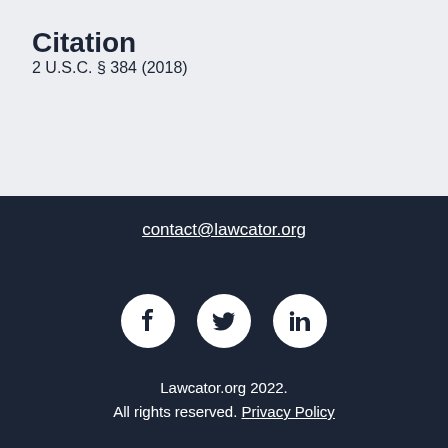Citation
2 U.S.C. § 384 (2018)
contact@lawcator.org
[Figure (illustration): Three social media icons in white circles on dark background: Facebook, Twitter, LinkedIn]
Lawcator.org 2022. All rights reserved. Privacy Policy